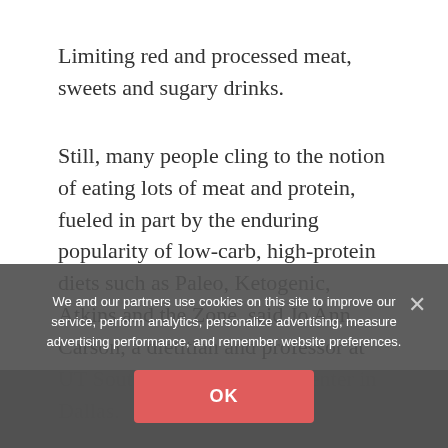Limiting red and processed meat, sweets and sugary drinks.
Still, many people cling to the notion of eating lots of meat and protein, fueled in part by the enduring popularity of low-carb, high-protein diets such as Paleo, Ketogenic, Atkins and the Zone, said Jo Ann Carson, a dietitian and professor at UT Southwestern Medical Center in Dallas.
“But if you use that very high protein diet to lose weight, typically the only way to keep that weight off is to
be potential health issues there, said Carson, chair of AHA’s nutrition committee.
“Probably the biggest problem with large amounts of
We and our partners use cookies on this site to improve our service, perform analytics, personalize advertising, measure advertising performance, and remember website preferences.